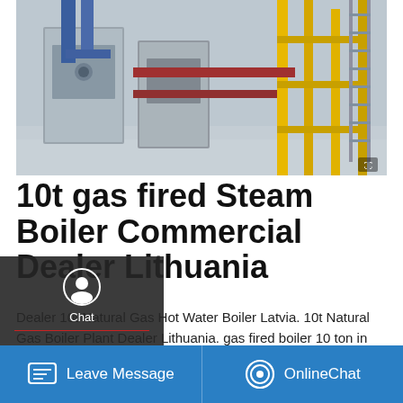[Figure (photo): Industrial boiler room with large metal boilers, blue and yellow pipes, scaffolding in background]
10t gas fired Steam Boiler Commercial Dealer Lithuania
Dealer 10t Natural Gas Hot Water Boiler Latvia. 10t Natural Gas Boiler Plant Dealer Lithuania. gas fired boiler 10 ton in Algeria. fired 10 ton in Algeria 5 tons oil fired hot water in brewery - Factory There are many types of steam oil-fired followed by the main uses main features within 10 coal-fired thermal power ultra-mission renovation (except long -fired steam the type of 5
[Figure (screenshot): Save Stickers on WhatsApp promotional bar with WhatsApp and sticker icons]
Leave Message | OnlineChat